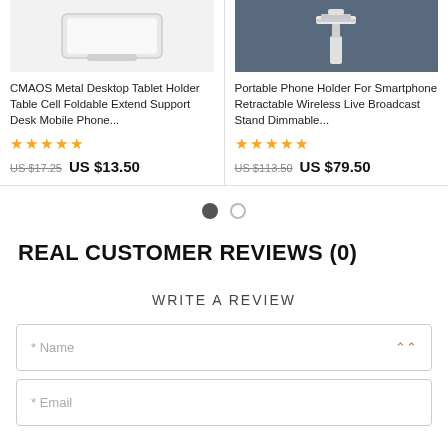[Figure (photo): Product image of CMAOS Metal Desktop Tablet Holder - white tablet stand on light gray background]
CMAOS Metal Desktop Tablet Holder Table Cell Foldable Extend Support Desk Mobile Phone...
★★★★★
US $17.25   US $13.50
[Figure (photo): Product image of Portable Phone Holder - white phone stand with robotic arm on dark blue-gray background]
Portable Phone Holder For Smartphone Retractable Wireless Live Broadcast Stand Dimmable...
★★★★★
US $113.50   US $79.50
[Figure (other): Pagination dots - one filled dark circle and one empty circle]
REAL CUSTOMER REVIEWS (0)
WRITE A REVIEW
* Name
* Email